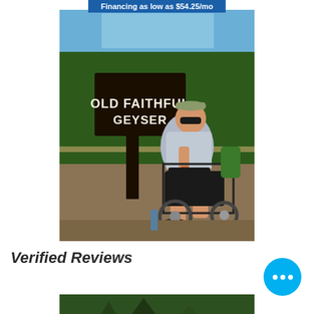Financing as low as $54.25/mo
[Figure (photo): Person in a power wheelchair sitting next to an Old Faithful Geyser sign, outdoors with trees in the background. The person is wearing sunglasses, a grey shirt, black shorts, and sandals. The wheelchair is black and green.]
Verified Reviews
[Figure (photo): Partial photo of outdoor scene with trees, partially visible at bottom of page.]